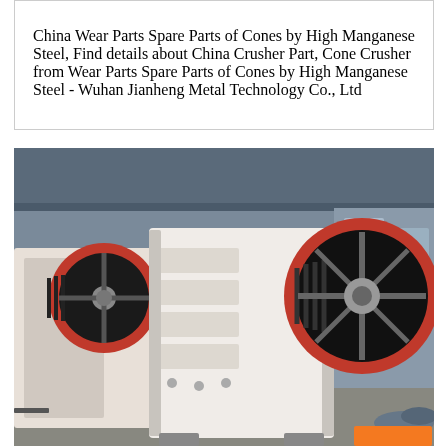China Wear Parts Spare Parts of Cones by High Manganese Steel, Find details about China Crusher Part, Cone Crusher from Wear Parts Spare Parts of Cones by High Manganese Steel - Wuhan Jianheng Metal Technology Co., Ltd
[Figure (photo): Industrial jaw crusher machine with large black and red flywheels, white painted heavy steel body with ribbed sections, photographed inside a factory/warehouse setting. Two large pulley wheels with red rims and black belts visible. An orange button/label appears at the bottom right.]